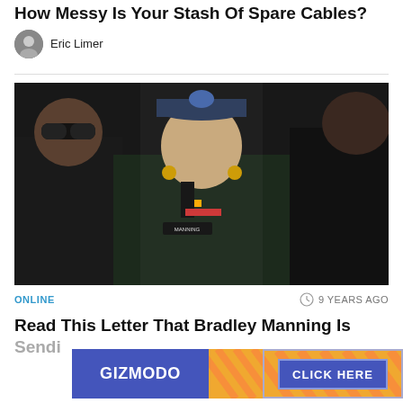How Messy Is Your Stash Of Spare Cables?
Eric Limer
[Figure (photo): A person in a dark US Army dress uniform with a name tag reading MANNING, standing between two other individuals, one in sunglasses.]
ONLINE   9 YEARS AGO
Read This Letter That Bradley Manning Is Sendi
[Figure (other): Advertisement banner with GIZMODO on left in blue and CLICK HERE button on right with diagonal stripe pattern.]